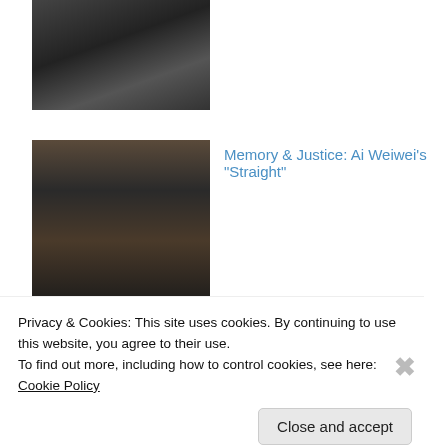[Figure (photo): Dark photograph showing people, partially visible at top of page]
[Figure (photo): Dark photograph showing what appears to be metal rods or rails laid out]
Memory & Justice: Ai Weiwei's "Straight"
TBDI 2014 – Top Culture Blogger
[Figure (logo): #TBDItaly logo with location pin and airplane icon on light blue background]
Privacy & Cookies: This site uses cookies. By continuing to use this website, you agree to their use.
To find out more, including how to control cookies, see here: Cookie Policy
Close and accept